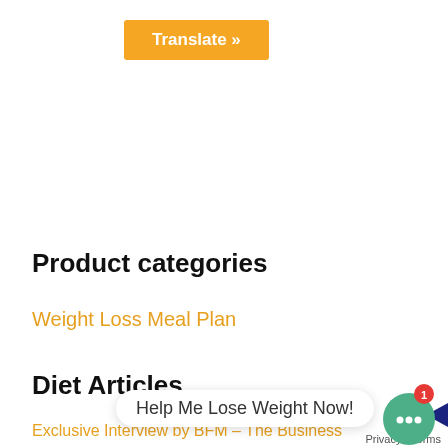[Figure (other): Orange 'Translate »' button at the top of the page]
Product categories
Weight Loss Meal Plan
Diet Articles
Help Me Lose Weight Now!
Exclusive Interview by BFM – The Business
Privacy - Terms